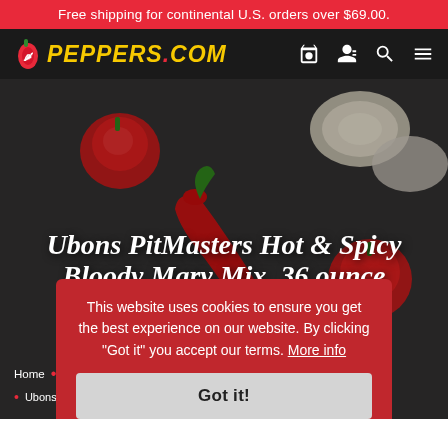Free shipping for continental U.S. orders over $69.00.
[Figure (logo): Peppers.com logo with pepper mascot and yellow italic text on dark navigation bar]
[Figure (photo): Dark background with red peppers, mushrooms, and chili peppers arranged on a dark surface]
Ubons PitMasters Hot & Spicy Bloody Mary Mix - 36 ounce bottle
Home • Specialty • Top Selling Bloody Mary Mixes • Ubons PitMasters Hot & Spicy Bloody Mary Mix - 36 ounce bottle
This website uses cookies to ensure you get the best experience on our website. By clicking "Got it" you accept our terms. More info
Got it!